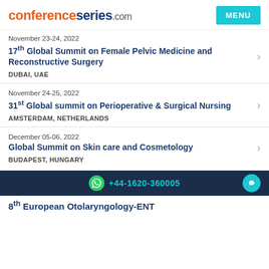conferenceseries.com
November 23-24, 2022
17th Global Summit on Female Pelvic Medicine and Reconstructive Surgery
DUBAI, UAE
November 24-25, 2022
31st Global summit on Perioperative & Surgical Nursing
AMSTERDAM, NETHERLANDS
December 05-06, 2022
Global Summit on Skin care and Cosmetology
BUDAPEST, HUNGARY
+44-1620-360005
8th European Otolaryngology-ENT